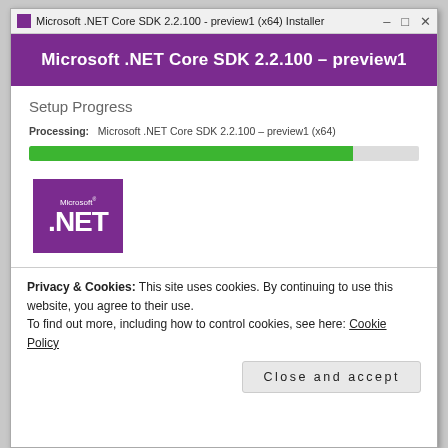[Figure (screenshot): Windows installer dialog for Microsoft .NET Core SDK 2.2.100 - preview1 (x64). Shows a purple header with the installer title, a Setup Progress section with a green progress bar nearly complete, and the Microsoft .NET logo in purple. Below the installer window is a cookie consent notice with a 'Close and accept' button.]
Processing:   Microsoft .NET Core SDK 2.2.100 – preview1 (x64)
Privacy & Cookies: This site uses cookies. By continuing to use this website, you agree to their use.
To find out more, including how to control cookies, see here: Cookie Policy